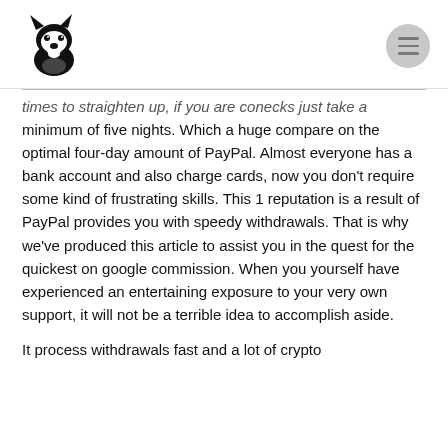[Figure (logo): Husky dog head logo in black silhouette]
times to straighten up, if you are conecks just take a minimum of five nights. Which a huge compare on the optimal four-day amount of PayPal. Almost everyone has a bank account and also charge cards, now you don't require some kind of frustrating skills. This 1 reputation is a result of PayPal provides you with speedy withdrawals. That is why we've produced this article to assist you in the quest for the quickest on google commission. When you yourself have experienced an entertaining exposure to your very own support, it will not be a terrible idea to accomplish aside.
It process withdrawals fast and a lot of crypto